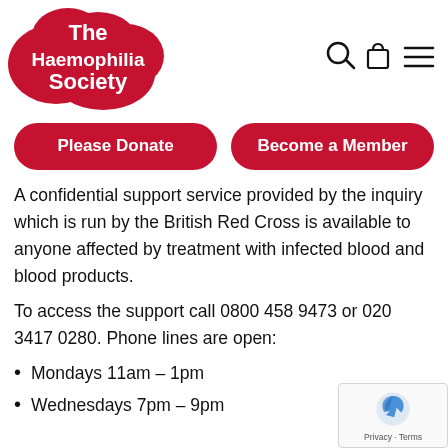[Figure (logo): The Haemophilia Society logo — red blob shape with white bold text reading 'The Haemophilia Society']
[Figure (illustration): Navigation icons: search (magnifying glass), shopping bag, and hamburger menu]
Please Donate
Become a Member
A confidential support service provided by the inquiry which is run by the British Red Cross is available to anyone affected by treatment with infected blood and blood products.
To access the support call 0800 458 9473 or 020 3417 0280. Phone lines are open:
Mondays 11am – 1pm
Wednesdays 7pm – 9pm